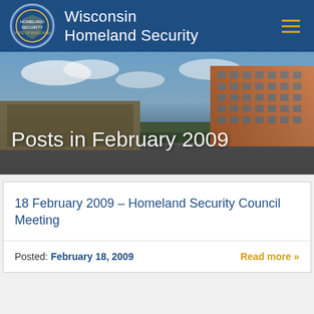Wisconsin Homeland Security
[Figure (screenshot): Hero banner showing a city skyline with buildings and sky, overlaid with text 'Posts in February 2009']
Posts in February 2009
18 February 2009 – Homeland Security Council Meeting
Posted: February 18, 2009   Read more »